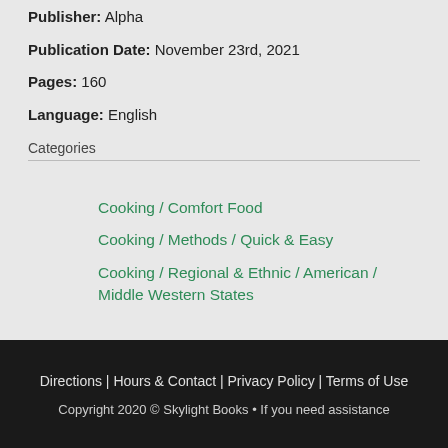Publisher: Alpha
Publication Date: November 23rd, 2021
Pages: 160
Language: English
Categories
Cooking / Comfort Food
Cooking / Methods / Quick & Easy
Cooking / Regional & Ethnic / American / Middle Western States
Directions | Hours & Contact | Privacy Policy | Terms of Use
Copyright 2020 © Skylight Books • If you need assistance